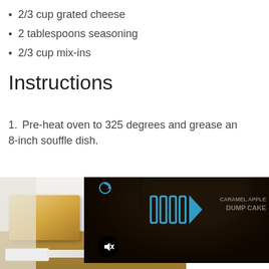2/3 cup grated cheese
2 tablespoons seasoning
2/3 cup mix-ins
Instructions
Pre-heat oven to 325 degrees and grease an 8-inch souffle dish.
[Figure (photo): Composite image with a video player overlay showing a dark food bowl with CARAMEL APPLE DUMP CAKE text and play controls, overlaid on a photo of bread blocks on a wooden surface with a white-handled knife in the foreground]